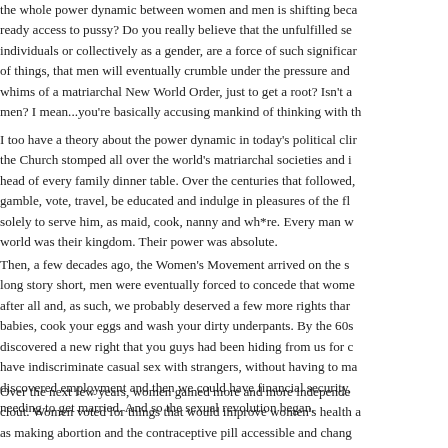the whole power dynamic between women and men is shifting beca ready access to pussy? Do you really believe that the unfulfilled se individuals or collectively as a gender, are a force of such significar of things, that men will eventually crumble under the pressure and whims of a matriarchal New World Order, just to get a root? Isn't a men? I mean...you're basically accusing mankind of thinking with th
I too have a theory about the power dynamic in today's political clir the Church stomped all over the world's matriarchal societies and i head of every family dinner table. Over the centuries that followed, gamble, vote, travel, be educated and indulge in pleasures of the fl solely to serve him, as maid, cook, nanny and wh*re. Every man w world was their kingdom. Their power was absolute.
Then, a few decades ago, the Women's Movement arrived on the s long story short, men were eventually forced to concede that wome after all and, as such, we probably deserved a few more rights thar babies, cook your eggs and wash your dirty underpants. By the 60s discovered a new right that you guys had been hiding from us for c have indiscriminate casual sex with strangers, without having to ma discovered employment and then we could have financial security, needing to get married. And so the sexual revolution began.
Over the next few years, women gained more and more independe clout. Women voted for things that would improve women's health a as making abortion and the contraceptive pill accessible and chang a) women could leave domestic violence situations and b) when th walk away with nothing but the clothes on their back. (I know this